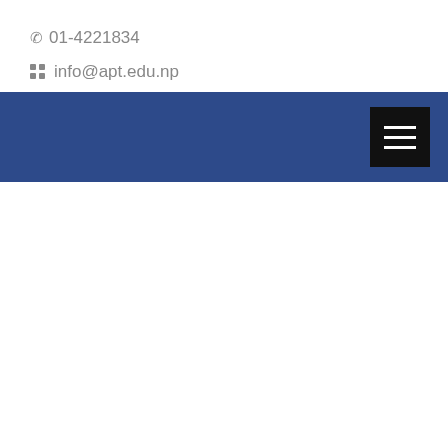📞 01-4221834
⊞ info@apt.edu.np
[Figure (screenshot): Dark navy blue navigation bar with a dark hamburger menu button (three white horizontal lines) on the right side]